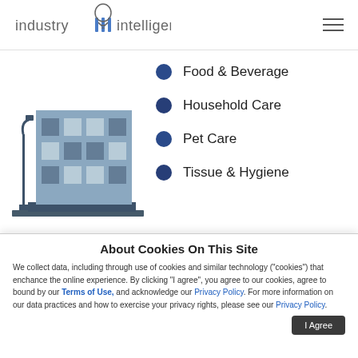industry iii intelligence inc.
[Figure (illustration): Building/office block illustration with a street lamp, shown in blue and grey tones]
Food & Beverage
Household Care
Pet Care
Tissue & Hygiene
About Cookies On This Site
We collect data, including through use of cookies and similar technology ("cookies") that enchance the online experience. By clicking "I agree", you agree to our cookies, agree to bound by our Terms of Use, and acknowledge our Privacy Policy. For more information on our data practices and how to exercise your privacy rights, please see our Privacy Policy.